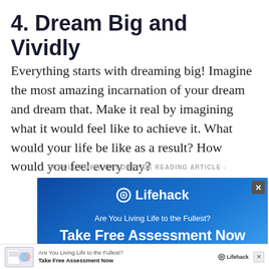4. Dream Big and Vividly
Everything starts with dreaming big! Imagine the most amazing incarnation of your dream and dream that. Make it real by imagining what it would feel like to achieve it. What would your life be like as a result? How would you feel every day?
↓ SCROLL DOWN TO CONTINUE READING ARTICLE ↓
[Figure (screenshot): Lifehack advertisement banner with blue gradient background. Shows Lifehack logo, tagline 'Are You Living Life to the Fullest?', and CTA 'Take Free Assessment Now'. Has an X close button in top right corner.]
[Figure (screenshot): Bottom notification bar with small document thumbnail image, text 'Are You Living Life to the Fullest? Take Free Assessment Now', Lifehack logo, and X close button.]